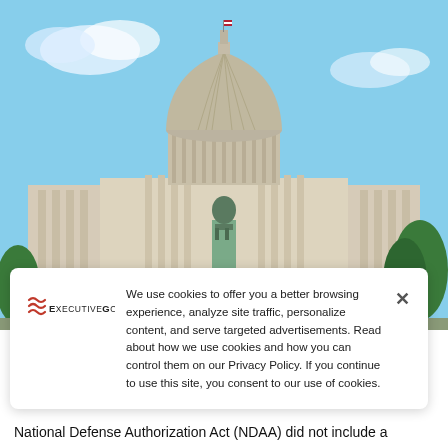[Figure (photo): Photograph of the United States Capitol building with dome, statue in foreground, blue sky with clouds]
We use cookies to offer you a better browsing experience, analyze site traffic, personalize content, and serve targeted advertisements. Read about how we use cookies and how you can control them on our Privacy Policy. If you continue to use this site, you consent to our use of cookies.
National Defense Authorization Act (NDAA) did not include a